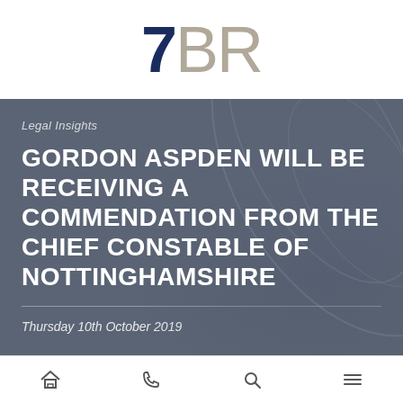[Figure (logo): 7BR law firm logo — bold navy '7' followed by light tan 'BR' in large type]
Legal Insights
GORDON ASPDEN WILL BE RECEIVING A COMMENDATION FROM THE CHIEF CONSTABLE OF NOTTINGHAMSHIRE
Thursday 10th October 2019